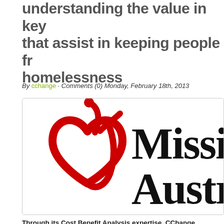understanding the value in key services that assist in keeping people from homelessness
By cchange · Comments (0) Monday, February 18th, 2013
[Figure (logo): Mission Australia logo — red heart with figure raising one arm, next to bold text 'Mission Australia' (partially cropped showing 'Missi' and 'Austr')]
Through its Cost Benefit Analysis expertise, CChange Sustainable Solutions Planning Consultants have helped Mission Australia understand the value in key services that assist in keeping people from homelessness.